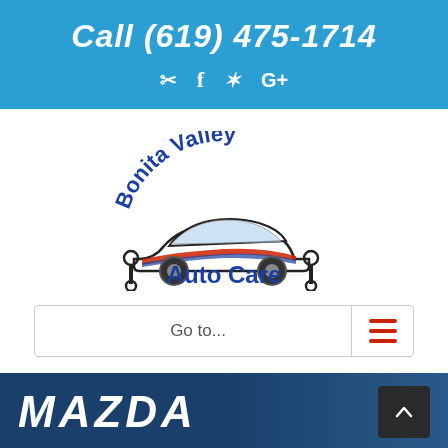Call (619) 475-1714
[Figure (logo): Social media icons: email/contact, Facebook, Yelp, Google+]
[Figure (logo): Bonita Valley Auto Care logo with car silhouette and wrench icons]
Go to...
MAZDA